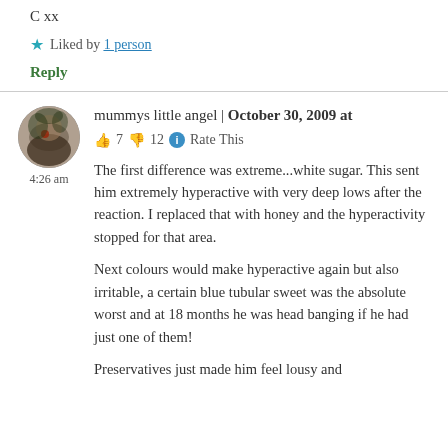C xx
★ Liked by 1 person
Reply
mummys little angel | October 30, 2009 at 4:26 am
👍 7 👎 12 ℹ Rate This
The first difference was extreme...white sugar. This sent him extremely hyperactive with very deep lows after the reaction. I replaced that with honey and the hyperactivity stopped for that area.
Next colours would make hyperactive again but also irritable, a certain blue tubular sweet was the absolute worst and at 18 months he was head banging if he had just one of them!
Preservatives just made him feel lousy and